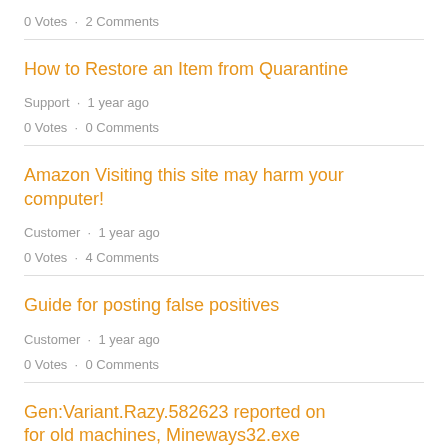0 Votes · 2 Comments
How to Restore an Item from Quarantine
Support · 1 year ago
0 Votes · 0 Comments
Amazon Visiting this site may harm your computer!
Customer · 1 year ago
0 Votes · 4 Comments
Guide for posting false positives
Customer · 1 year ago
0 Votes · 0 Comments
Gen:Variant.Razy.582623 reported on for old machines, Mineways32.exe